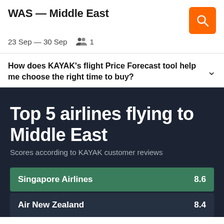WAS — Middle East
23 Sep — 30 Sep   1
How does KAYAK's flight Price Forecast tool help me choose the right time to buy?
Top 5 airlines flying to Middle East
Scores according to KAYAK customer reviews
Singapore Airlines  8.6
Air New Zealand  8.4